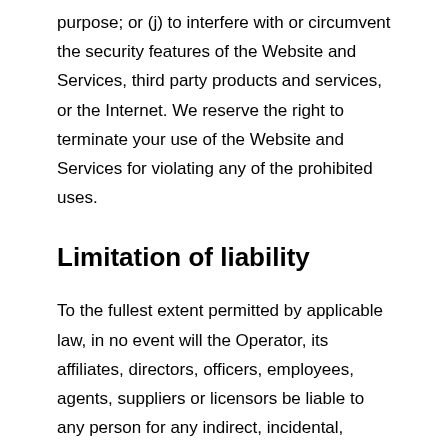purpose; or (j) to interfere with or circumvent the security features of the Website and Services, third party products and services, or the Internet. We reserve the right to terminate your use of the Website and Services for violating any of the prohibited uses.
Limitation of liability
To the fullest extent permitted by applicable law, in no event will the Operator, its affiliates, directors, officers, employees, agents, suppliers or licensors be liable to any person for any indirect, incidental, special, punitive, cover or consequential damages (including, without limitation, damages for lost profits, revenue, sales,